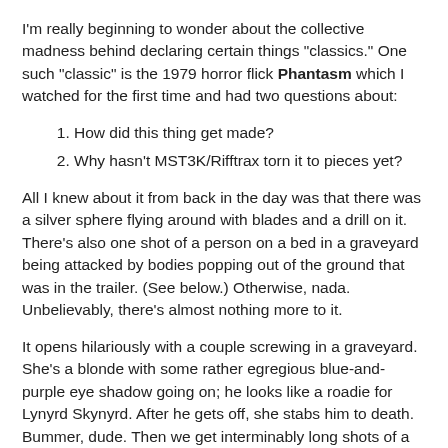I'm really beginning to wonder about the collective madness behind declaring certain things "classics." One such "classic" is the 1979 horror flick Phantasm which I watched for the first time and had two questions about:
1. How did this thing get made?
2. Why hasn't MST3K/Rifftrax torn it to pieces yet?
All I knew about it from back in the day was that there was a silver sphere flying around with blades and a drill on it. There's also one shot of a person on a bed in a graveyard being attacked by bodies popping out of the ground that was in the trailer. (See below.) Otherwise, nada. Unbelievably, there's almost nothing more to it.
It opens hilariously with a couple screwing in a graveyard. She's a blonde with some rather egregious blue-and-purple eye shadow going on; he looks like a roadie for Lynyrd Skynyrd. After he gets off, she stabs him to death. Bummer, dude. Then we get interminably long shots of a kid having trouble riding his dirt bike through the cemetery and another guy wandering the halls of a mausoleum. I'm not even going